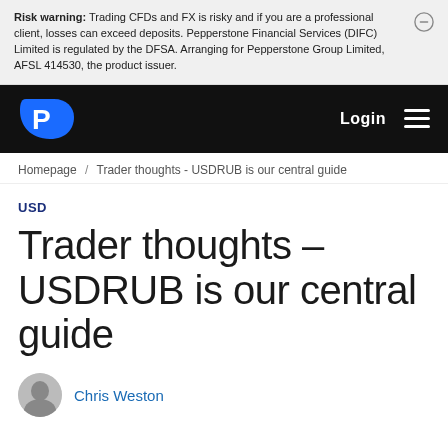Risk warning: Trading CFDs and FX is risky and if you are a professional client, losses can exceed deposits. Pepperstone Financial Services (DIFC) Limited is regulated by the DFSA. Arranging for Pepperstone Group Limited, AFSL 414530, the product issuer.
[Figure (logo): Pepperstone logo - blue P shape on black background, with Login text and hamburger menu on right]
Homepage / Trader thoughts - USDRUB is our central guide
USD
Trader thoughts - USDRUB is our central guide
Chris Weston